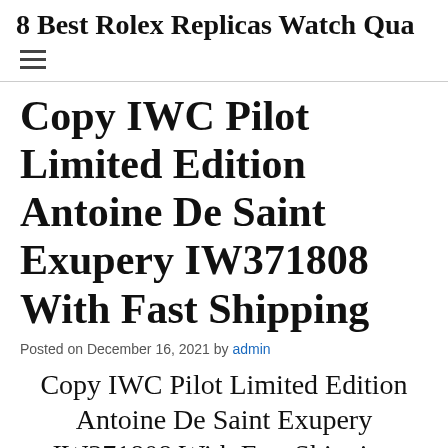8 Best Rolex Replicas Watch Qua
Copy IWC Pilot Limited Edition Antoine De Saint Exupery IW371808 With Fast Shipping
Posted on December 16, 2021 by admin
Copy IWC Pilot Limited Edition Antoine De Saint Exupery IW371808 With Fast Shipping